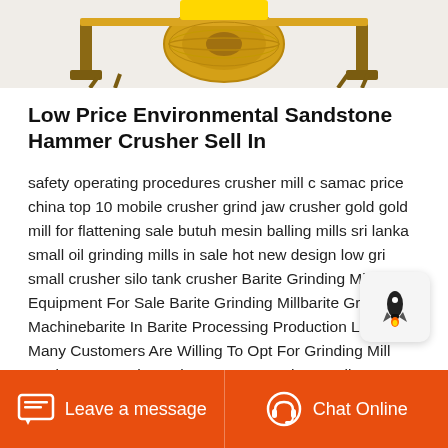[Figure (photo): Yellow industrial hammer crusher machine on a wooden frame, partially visible at the top of the page]
Low Price Environmental Sandstone Hammer Crusher Sell In
safety operating procedures crusher mill c samac price china top 10 mobile crusher grind jaw crusher gold gold mill for flattening sale butuh mesin balling mills sri lanka small oil grinding mills in sale hot new design low gri small crusher silo tank crusher Barite Grinding Mill Equipment For Sale Barite Grinding Millbarite Grinding Machinebarite In Barite Processing Production Line Many Customers Are Willing To Opt For Grinding Mill Equipment As The Main Reason Are The Small Frequency
Leave a message   Chat Online